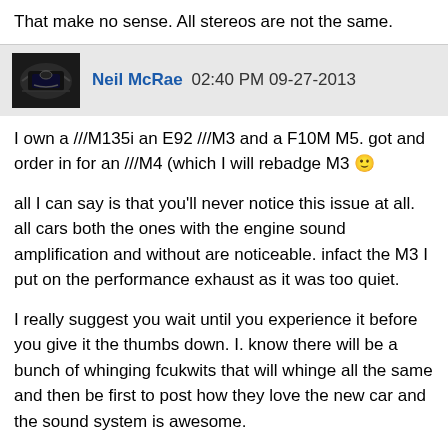That make no sense. All stereos are not the same.
Neil McRae 02:40 PM 09-27-2013
I own a ///M135i an E92 ///M3 and a F10M M5. got and order in for an ///M4 (which I will rebadge M3 :)
all I can say is that you'll never notice this issue at all. all cars both the ones with the engine sound amplification and without are noticeable. infact the M3 I put on the performance exhaust as it was too quiet.
I really suggest you wait until you experience it before you give it the thumbs down. I. know there will be a bunch of whinging fcukwits that will whinge all the same and then be first to post how they love the new car and the sound system is awesome.